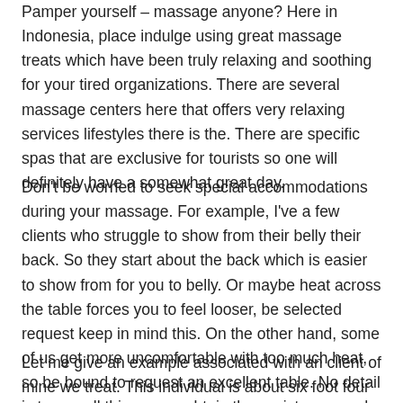Pamper yourself – massage anyone? Here in Indonesia, place indulge using great massage treats which have been truly relaxing and soothing for your tired organizations. There are several massage centers here that offers very relaxing services lifestyles there is the. There are specific spas that are exclusive for tourists so one will definitely have a somewhat great day.
Don't be worried to seek special accommodations during your massage. For example, I've a few clients who struggle to show from their belly their back. So they start about the back which is easier to show from for you to belly. Or maybe heat across the table forces you to feel looser, be selected request keep in mind this. On the other hand, some of us get more uncomfortable with too much heat, so be bound to request an excellent table. No detail is too small this means obtain the assist you need.
Let me give an example associated with an client of mine we treat. This individual is about six foot four and weighs 290lbs. He is just about the biggest client I have ever treated before. Do the